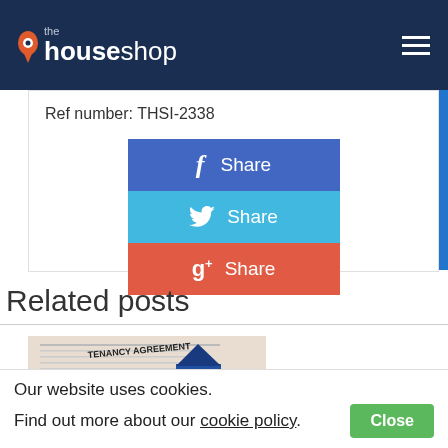the houseshop
Ref number: THSI-2338
[Figure (infographic): Social share buttons: Facebook Share (blue), Twitter Share (cyan), Google+ Share (red/orange)]
Related posts
[Figure (photo): Photo of a Tenancy Agreement document with a small blue house model on top]
Our website uses cookies. Find out more about our cookie policy.
Close